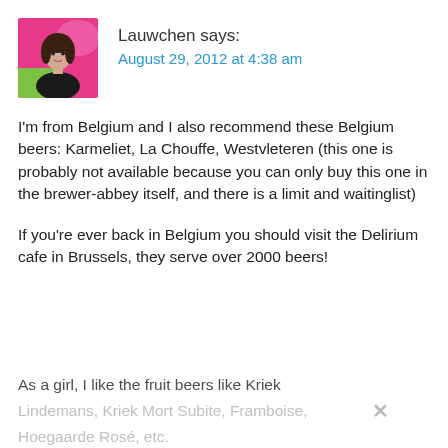[Figure (illustration): Avatar photo of Lauwchen — a stylized illustration of a woman in a black top against a bright pink/green background]
Lauwchen says:
August 29, 2012 at 4:38 am
I'm from Belgium and I also recommend these Belgium beers: Karmeliet, La Chouffe, Westvleteren (this one is probably not available because you can only buy this one in the brewer-abbey itself, and there is a limit and waitinglist)
If you're ever back in Belgium you should visit the Delirium cafe in Brussels, they serve over 2000 beers!
As a girl, I like the fruit beers like Kriek Lindemans, Kriek Mort Subite, Framboise, Hoegaarde Rosé, etc.